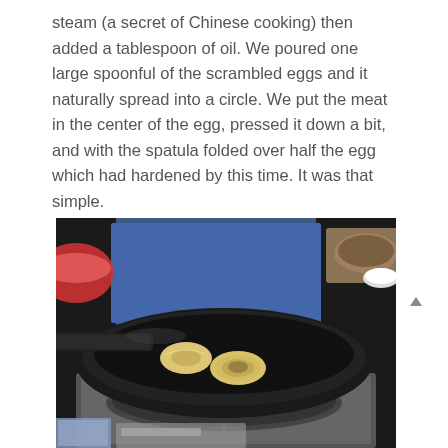steam (a secret of Chinese cooking) then added a tablespoon of oil. We poured one large spoonful of the scrambled eggs and it naturally spread into a circle. We put the meat in the center of the egg, pressed it down a bit, and with the spatula folded over half the egg which had hardened by this time. It was that simple.
[Figure (photo): A black wok on a gas stove burner containing several small round egg parcels with meat filling, folded in half. Kitchen setting with blue fabric in background and various dishes/utensils visible.]